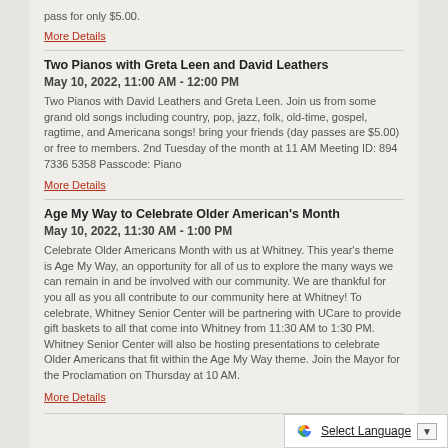pass for only $5.00.
More Details
Two Pianos with Greta Leen and David Leathers
May 10, 2022, 11:00 AM - 12:00 PM
Two Pianos with David Leathers and Greta Leen. Join us from some grand old songs including country, pop, jazz, folk, old-time, gospel, ragtime, and Americana songs! bring your friends (day passes are $5.00) or free to members. 2nd Tuesday of the month at 11 AM Meeting ID: 894 7336 5358 Passcode: Piano
More Details
Age My Way to Celebrate Older American's Month
May 10, 2022, 11:30 AM - 1:00 PM
Celebrate Older Americans Month with us at Whitney. This year's theme is Age My Way, an opportunity for all of us to explore the many ways we can remain in and be involved with our community. We are thankful for you all as you all contribute to our community here at Whitney! To celebrate, Whitney Senior Center will be partnering with UCare to provide gift baskets to all that come into Whitney from 11:30 AM to 1:30 PM. Whitney Senior Center will also be hosting presentations to celebrate Older Americans that fit within the Age My Way theme. Join the Mayor for the Proclamation on Thursday at 10 AM.
More Details